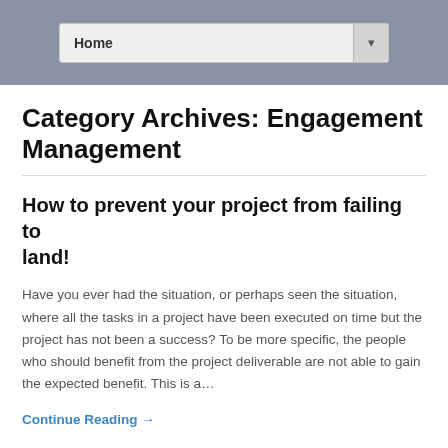Home
Category Archives: Engagement Management
How to prevent your project from failing to land!
Have you ever had the situation, or perhaps seen the situation, where all the tasks in a project have been executed on time but the project has not been a success?  To be more specific, the people who should benefit from the project deliverable are not able to gain the expected benefit. This is a…
Continue Reading →